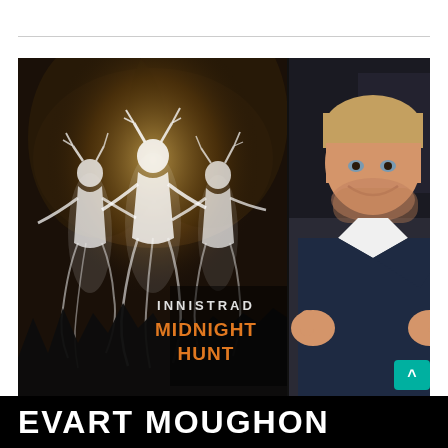[Figure (photo): Composite image: left half shows the 'Innistrad: Midnight Hunt' fantasy game artwork featuring three glowing white ghostly figures holding hands against a dark forest background with the game logo in orange text. Right half shows a smiling young man in a navy suit giving two thumbs up.]
EVART MOUGHON